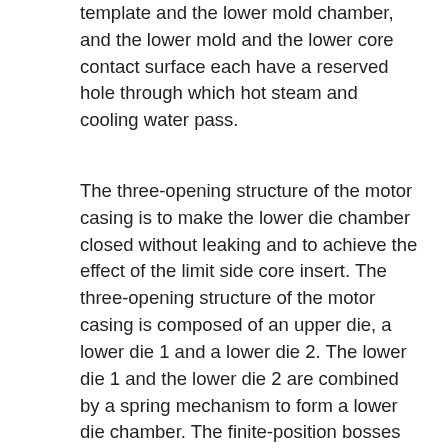template and the lower mold chamber, and the lower mold and the lower core contact surface each have a reserved hole through which hot steam and cooling water pass.
The three-opening structure of the motor casing is to make the lower die chamber closed without leaking and to achieve the effect of the limit side core insert. The three-opening structure of the motor casing is composed of an upper die, a lower die 1 and a lower die 2. The lower die 1 and the lower die 2 are combined by a spring mechanism to form a lower die chamber. The finite-position bosses at the two ends of the four side core inserts are inserted into the upper die limit groove and the lower die limit groove respectively in the mold clamping state, and the side draw is prevented. The core insert is retracted. When filling, the upper mold is lifted by 20mm, then the lower mold spring mechanism bounces the lower